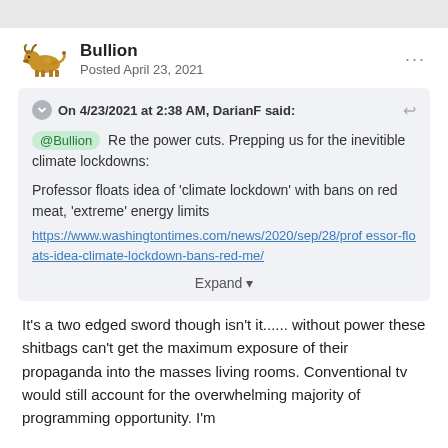Bullion
Posted April 23, 2021
On 4/23/2021 at 2:38 AM, DarianF said:
@Bullion Re the power cuts. Prepping us for the inevitible climate lockdowns:

Professor floats idea of 'climate lockdown' with bans on red meat, 'extreme' energy limits
https://www.washingtontimes.com/news/2020/sep/28/professor-floats-idea-climate-lockdown-bans-red-me/

Expand
It's a two edged sword though isn't it...... without power these shitbags can't get the maximum exposure of their propaganda into the masses living rooms. Conventional tv would still account for the overwhelming majority of programming opportunity. I'm